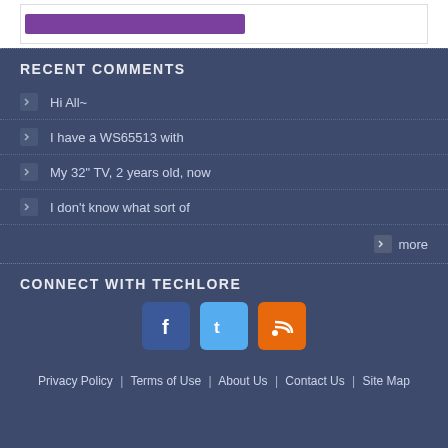[Figure (screenshot): Purple banner/bar inside a white box at the top of the page]
RECENT COMMENTS
Hi All~
I have a WS65513 with
My 32" TV, 2 years old, now
I don't know what sort of
more
CONNECT WITH TECHLORE
[Figure (logo): Facebook, Twitter, and RSS social media icons]
Privacy Policy | Terms of Use | About Us | Contact Us | Site Map